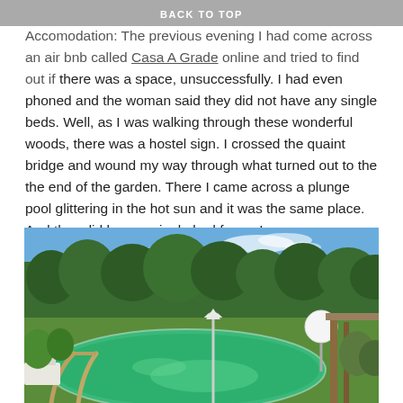BACK TO TOP
Accomodation: The previous evening I had come across an air bnb called Casa A Grade online and tried to find out if there was a space, unsuccessfully. I had even phoned and the woman said they did not have any single beds. Well, as I was walking through these wonderful woods, there was a hostel sign. I crossed the quaint bridge and wound my way through what turned out to the the end of the garden. There I came across a plunge pool glittering in the hot sun and it was the same place. And they did have a single bed for me!
[Figure (photo): Outdoor swimming pool with green water, metal handrails in foreground, a folded white umbrella, a white globe lamp, garden and trees in background under blue sky.]